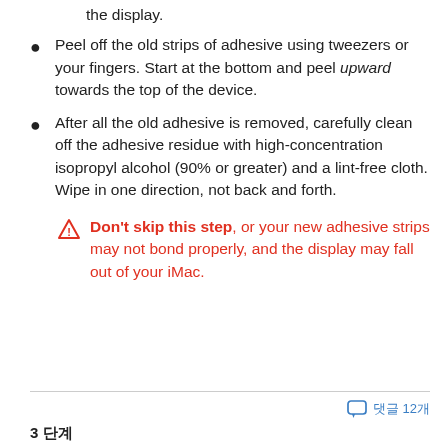the display.
Peel off the old strips of adhesive using tweezers or your fingers. Start at the bottom and peel upward towards the top of the device.
After all the old adhesive is removed, carefully clean off the adhesive residue with high-concentration isopropyl alcohol (90% or greater) and a lint-free cloth. Wipe in one direction, not back and forth.
Don't skip this step, or your new adhesive strips may not bond properly, and the display may fall out of your iMac.
💬  댓글 12개
3 단계